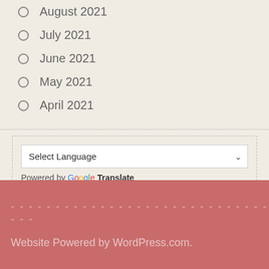August 2021
July 2021
June 2021
May 2021
April 2021
Select Language  Powered by Google Translate
Website Powered by WordPress.com.